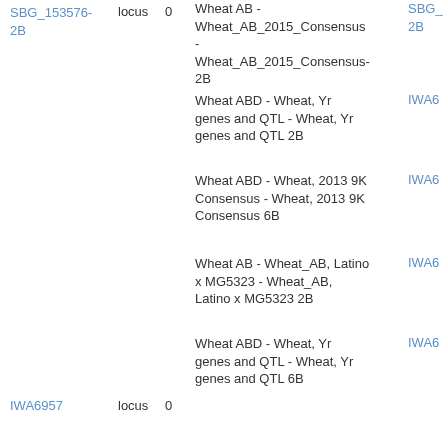SBG_153576-2B	locus	0
Wheat AB - Wheat_AB_2015_Consensus - Wheat_AB_2015_Consensus-2B
SBG_ 2B
Wheat ABD - Wheat, Yr genes and QTL - Wheat, Yr genes and QTL 2B
IWA6
Wheat ABD - Wheat, 2013 9K Consensus - Wheat, 2013 9K Consensus 6B
IWA6
Wheat AB - Wheat_AB, Latino x MG5323 - Wheat_AB, Latino x MG5323 2B
IWA6
Wheat ABD - Wheat, Yr genes and QTL - Wheat, Yr genes and QTL 6B
IWA6
IWA6957	locus	0
Wheat AB - Wheat_AB, Ben x PI41025 - Wheat_AB, Ben x PI41025 2B
IWA6
Wheat AB - Wheat_AB_2015_Consensus -
IWA6